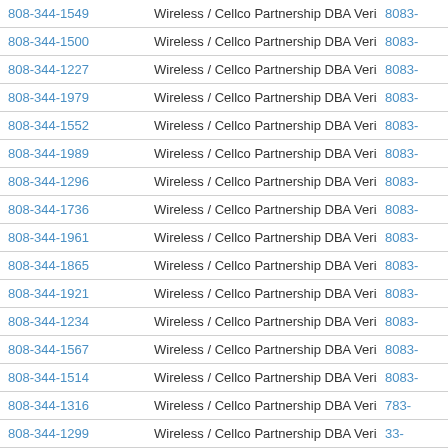| Phone | Carrier | Code |
| --- | --- | --- |
| 808-344-1549 | Wireless / Cellco Partnership DBA Verizon Wireless | 8083- |
| 808-344-1500 | Wireless / Cellco Partnership DBA Verizon Wireless | 8083- |
| 808-344-1227 | Wireless / Cellco Partnership DBA Verizon Wireless | 8083- |
| 808-344-1979 | Wireless / Cellco Partnership DBA Verizon Wireless | 8083- |
| 808-344-1552 | Wireless / Cellco Partnership DBA Verizon Wireless | 8083- |
| 808-344-1989 | Wireless / Cellco Partnership DBA Verizon Wireless | 8083- |
| 808-344-1296 | Wireless / Cellco Partnership DBA Verizon Wireless | 8083- |
| 808-344-1736 | Wireless / Cellco Partnership DBA Verizon Wireless | 8083- |
| 808-344-1961 | Wireless / Cellco Partnership DBA Verizon Wireless | 8083- |
| 808-344-1865 | Wireless / Cellco Partnership DBA Verizon Wireless | 8083- |
| 808-344-1921 | Wireless / Cellco Partnership DBA Verizon Wireless | 8083- |
| 808-344-1234 | Wireless / Cellco Partnership DBA Verizon Wireless | 8083- |
| 808-344-1567 | Wireless / Cellco Partnership DBA Verizon Wireless | 8083- |
| 808-344-1514 | Wireless / Cellco Partnership DBA Verizon Wireless | 8083- |
| 808-344-1316 | Wireless / Cellco Partnership DBA Verizon Wireless | 783- |
| 808-344-1299 | Wireless / Cellco Partnership DBA Verizon Wireless | 33- |
| 808-344-1145 | Wireless / Cellco Partnership DBA Verizon Wireless | 8083- |
| 808-344-1428 | Wireless / Cellco Partnership DBA Verizon Wireless | 8083- |